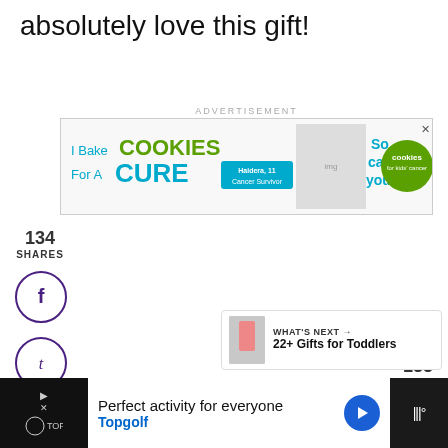absolutely love this gift!
ADVERTISEMENT
[Figure (infographic): Cookies for Kids Cancer advertisement banner: 'I Bake COOKIES For A CURE' with image of girl and text 'So can you!' with green circular logo]
134 SHARES
[Figure (infographic): Facebook share circle button (purple outline)]
[Figure (infographic): Twitter share circle button (purple outline)]
[Figure (infographic): Pinterest share circle button (purple outline)]
[Figure (infographic): Teal heart/like button with count 135 and share icon]
135
WHAT'S NEXT → 22+ Gifts for Toddlers
[Figure (infographic): Bottom advertisement bar: Topgolf - Perfect activity for everyone]